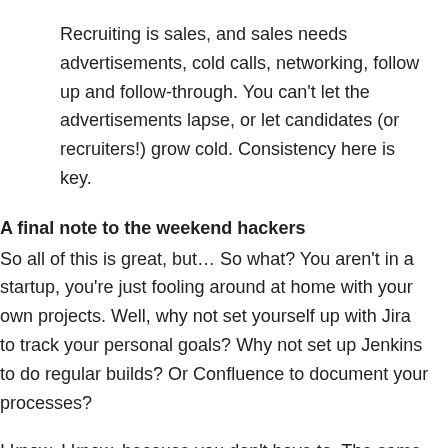Recruiting is sales, and sales needs advertisements, cold calls, networking, follow up and follow-through. You can't let the advertisements lapse, or let candidates (or recruiters!) grow cold. Consistency here is key.
A final note to the weekend hackers
So all of this is great, but… So what? You aren't in a startup, you're just fooling around at home with your own projects. Well, why not set yourself up with Jira to track your personal goals? Why not set up Jenkins to do regular builds? Or Confluence to document your processes?
I know, I know, because you don't have to. The same way you don't have to use source control or make backups, right? Oh yeah… The point is, maintaining this software at